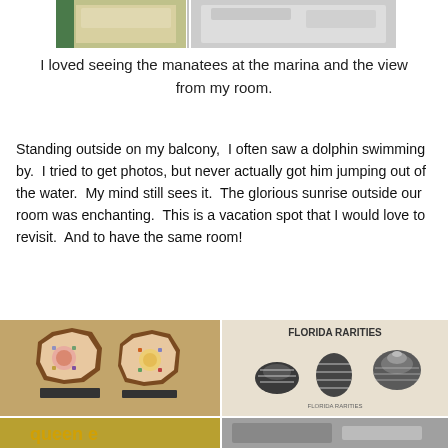[Figure (photo): Top partial photo showing manatees at marina and room view — water/sand textures visible]
I loved seeing the manatees at the marina and the view from my room.
Standing outside on my balcony,  I often saw a dolphin swimming by.  I tried to get photos, but never actually got him jumping out of the water.  My mind still sees it.  The glorious sunrise outside our room was enchanting.  This is a vacation spot that I would love to revisit.  And to have the same room!
[Figure (photo): Photo of two octagonal decorative mosaic or bead trays on a wooden surface]
[Figure (photo): Photo labeled FLORIDA RARITIES showing striped seashells on a display board]
[Figure (photo): Partial bottom-left photo with orange/gold text reading 'queen e']
[Figure (photo): Partial bottom-right photo, gray/muted tones]